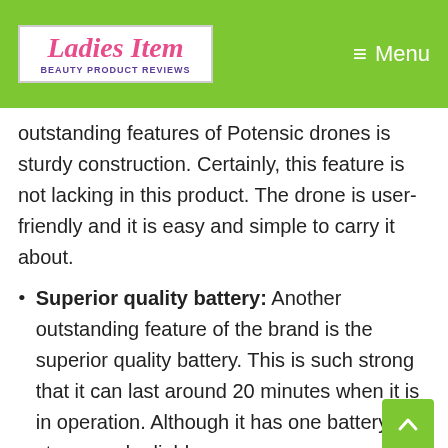Ladies Item – Beauty Product Reviews | Menu
outstanding features of Potensic drones is sturdy construction. Certainly, this feature is not lacking in this product. The drone is user-friendly and it is easy and simple to carry it about.
Superior quality battery: Another outstanding feature of the brand is the superior quality battery. This is such strong that it can last around 20 minutes when it is in operation. Although it has one battery, it strong and reliable.